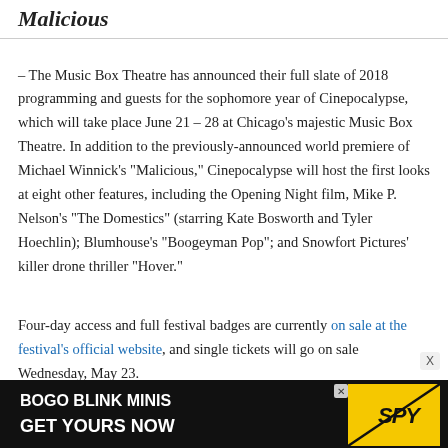Malicious
– The Music Box Theatre has announced their full slate of 2018 programming and guests for the sophomore year of Cinepocalypse, which will take place June 21 – 28 at Chicago's majestic Music Box Theatre. In addition to the previously-announced world premiere of Michael Winnick's "Malicious," Cinepocalypse will host the first looks at eight other features, including the Opening Night film, Mike P. Nelson's "The Domestics" (starring Kate Bosworth and Tyler Hoechlin); Blumhouse's "Boogeyman Pop"; and Snowfort Pictures' killer drone thriller "Hover."
Four-day access and full festival badges are currently on sale at the festival's official website, and single tickets will go on sale Wednesday, May 23.
[Figure (other): Advertisement banner: BOGO BLINK MINIS GET YOURS NOW with SPY logo on yellow background]